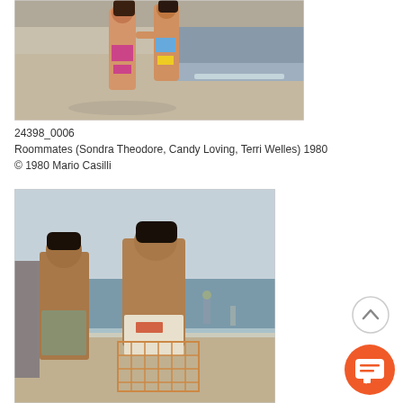[Figure (photo): Two women in bikinis walking on a beach near the ocean shoreline, color photograph from 1980]
24398_0006
Roommates (Sondra Theodore, Candy Loving, Terri Welles) 1980
© 1980 Mario Casilli
[Figure (photo): Two young men at a beach, one muscular young man sitting on a wire basket, color photograph, retro era]